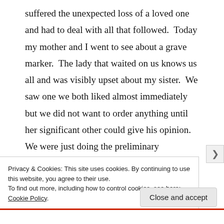suffered the unexpected loss of a loved one and had to deal with all that followed.  Today my mother and I went to see about a grave marker.  The lady that waited on us knows us all and was visibly upset about my sister.  We saw one we both liked almost immediately but we did not want to order anything until her significant other could give his opinion. We were just doing the preliminary footwork.  We were standing around chatting and the woman asked how I was doing. I assumed she was referring to my
Privacy & Cookies: This site uses cookies. By continuing to use this website, you agree to their use.
To find out more, including how to control cookies, see here: Cookie Policy
Close and accept